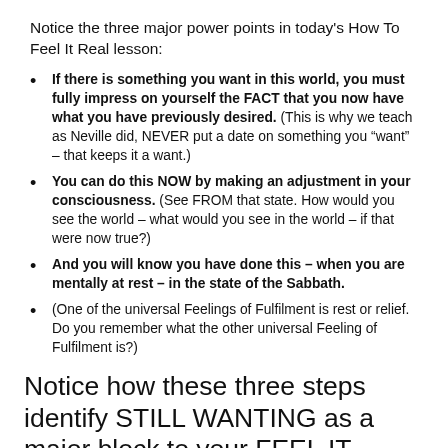Notice the three major power points in today's How To Feel It Real lesson:
If there is something you want in this world, you must fully impress on yourself the FACT that you now have what you have previously desired. (This is why we teach as Neville did, NEVER put a date on something you “want” – that keeps it a want.)
You can do this NOW by making an adjustment in your consciousness. (See FROM that state. How would you see the world – what would you see in the world – if that were now true?)
And you will know you have done this – when you are mentally at rest – in the state of the Sabbath.
(One of the universal Feelings of Fulfilment is rest or relief. Do you remember what the other universal Feeling of Fulfilment is?)
Notice how these three steps  identify STILL WANTING as a major block to your FEEL IT REAL success.